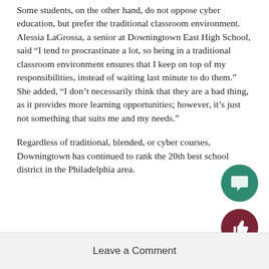Some students, on the other hand, do not oppose cyber education, but prefer the traditional classroom environment. Alessia LaGrossa, a senior at Downingtown East High School, said “I tend to procrastinate a lot, so being in a traditional classroom environment ensures that I keep on top of my responsibilities, instead of waiting last minute to do them.” She added, “I don’t necessarily think that they are a bad thing, as it provides more learning opportunities; however, it’s just not something that suits me and my needs.”
Regardless of traditional, blended, or cyber courses, Downingtown has continued to rank the 20th best school district in the Philadelphia area.
Leave a Comment